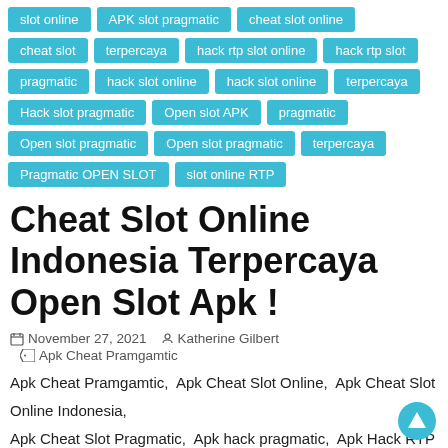slot online
APK slot pragmatic
cheat slot online
cheat slot
terpercaya
hack rtp slot online
hack rtp slot
pragmatic
hack slot online
hack slot online
terpercaya
Hack slot pragmatic
Open slot APK
pragmatic
Open slot pragmatic
Open slot pragmatic
terpercaya
Pragmatic OPEN SLOT
slot online RTP
Cheat Slot Online Indonesia Terpercaya Open Slot Apk !
November 27, 2021   Katherine Gilbert   Apk Cheat Pramgamtic, Apk Cheat Slot Online, Apk Cheat Slot Online Indonesia, Apk Cheat Slot Pragmatic, Apk hack pragmatic, Apk Hack RTP Slot, Apk Hack RTP Slot Online, Apk Hack Slot, apk hack slot online, Apk Hack Slot Online Terpercaya, apk hack slot pragmatic, Apk Open Slot, Apk open slot pragmatic, Apk Open Slot Terpercaya, Apk Pragmatic, Apk pragmatic terpercaya, APK slot pragmatic, Cheat rtp slot online,